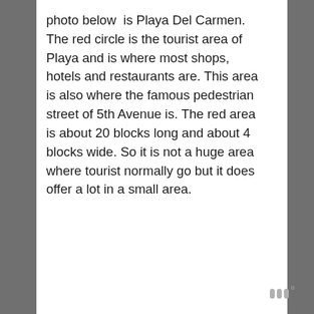photo below  is Playa Del Carmen. The red circle is the tourist area of Playa and is where most shops, hotels and restaurants are. This area is also where the famous pedestrian street of 5th Avenue is. The red area is about 20 blocks long and about 4 blocks wide. So it is not a huge area where tourist normally go but it does offer a lot in a small area.